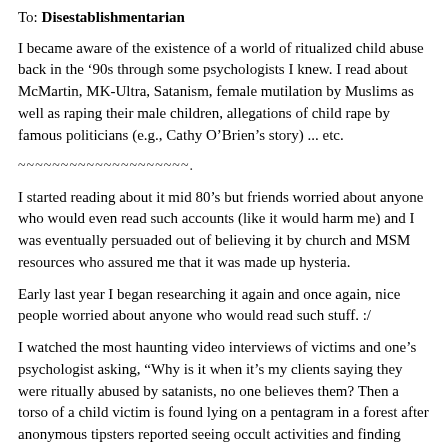To: Disestablishmentarian
I became aware of the existence of a world of ritualized child abuse back in the ’90s through some psychologists I knew. I read about McMartin, MK-Ultra, Satanism, female mutilation by Muslims as well as raping their male children, allegations of child rape by famous politicians (e.g., Cathy O’Brien’s story) ... etc.
~~~~~~~~~~~~~~~~~~~~.
I started reading about it mid 80’s but friends worried about anyone who would even read such accounts (like it would harm me) and I was eventually persuaded out of believing it by church and MSM resources who assured me that it was made up hysteria.
Early last year I began researching it again and once again, nice people worried about anyone who would read such stuff. :/
I watched the most haunting video interviews of victims and one’s psychologist asking, “Why is it when it’s my clients saying they were ritually abused by satanists, no one believes them? Then a torso of a child victim is found lying on a pentagram in a forest after anonymous tipsters reported seeing occult activities and finding alters etc., and then everyone is 100% shocked that such a thing could ever happen?” And basically, he indicated that it was rinse and repeat - his victims would be accused of lying, evidence